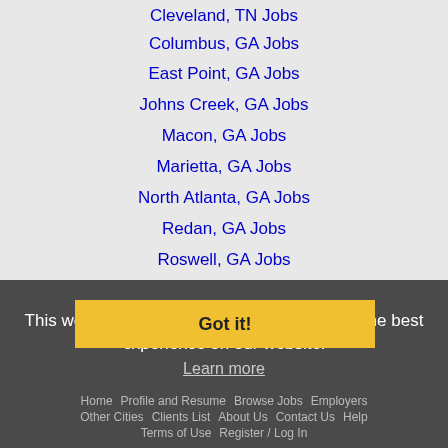Cleveland, TN Jobs
Columbus, GA Jobs
East Point, GA Jobs
Johns Creek, GA Jobs
Macon, GA Jobs
Marietta, GA Jobs
North Atlanta, GA Jobs
Redan, GA Jobs
Roswell, GA Jobs
Sandy Springs, GA Jobs
Smyrna, GA Jobs
Warner Robins, GA Jobs
This website uses cookies to ensure you get the best experience on our website.
Learn more
Got it!
Home | Profile and Resume | Browse Jobs | Employers | Other Cities | Clients List | About Us | Contact Us | Help | Terms of Use | Register / Log In